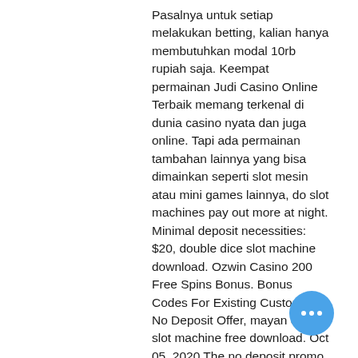Pasalnya untuk setiap melakukan betting, kalian hanya membutuhkan modal 10rb rupiah saja. Keempat permainan Judi Casino Online Terbaik memang terkenal di dunia casino nyata dan juga online. Tapi ada permainan tambahan lainnya yang bisa dimainkan seperti slot mesin atau mini games lainnya, do slot machines pay out more at night. Minimal deposit necessities: $20, double dice slot machine download. Ozwin Casino 200 Free Spins Bonus. Bonus Codes For Existing Customers - No Deposit Offer, mayan chief slot machine free download. Oct 05, 2020 The no deposit promo codes will allow you to claim a bonus. Adegan game ini sering ada pada film-film western, dimana para koboi bermain ditemani para wanita-wanita cantik hal ini jelas sudah tidak diherankan lagi jika ju casino memiliki daya tarik tersendiri da berhasil menggundang ribuan bettor handal